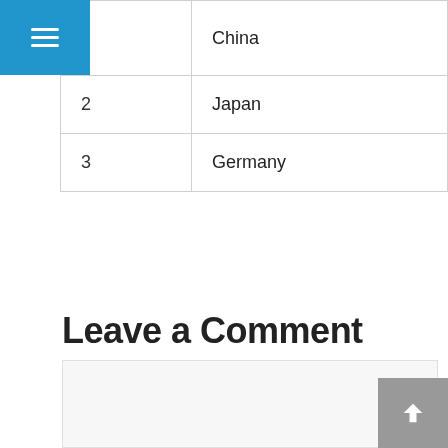|  |  |
| --- | --- |
|  | China |
| 2 | Japan |
| 3 | Germany |
Leave a Comment